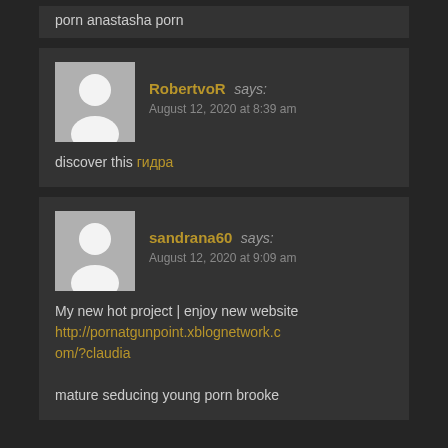porn anastasha porn
RobertvoR says:
August 12, 2020 at 8:39 am

discover this гидра
sandrana60 says:
August 12, 2020 at 9:09 am

My new hot project | enjoy new website
http://pornatgunpoint.xblognetwork.com/?claudia

mature seducing young porn brooke